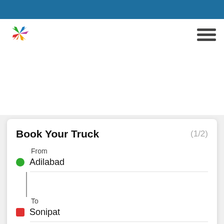[Figure (logo): Colorful pinwheel/asterisk logo with red, green, blue, yellow arrows]
Book Your Truck
(1/2)
From
Adilabad
To
Sonipat